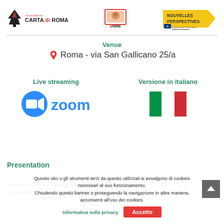[Figure (logo): Associazione Carta di Roma logo with tree icon]
[Figure (logo): UNIRE logo with image of person and text UNIRE]
[Figure (logo): Nouvelles Perspectives logo with arrow and EU funding note]
Venue
Roma - via San Gallicano 25/a
Live streaming
[Figure (logo): Zoom logo with camera icon and blue 'zoom' text]
Versione in italiano
[Figure (illustration): Italian flag - green, white, red vertical stripes]
Presentation
Questo sito o gli strumenti terzi da questo utilizzati si avwalgono di cookies necessari al suo funzionamento.
Chiudendo questo banner o proseguendo la navigazione in altra maniera, acconsenti all'uso dei cookies.
Russian Federation to wage war on Ukraine. Every day we are exposed to dramatic images and we near shocking
Informativa sulla privacy
Accetto